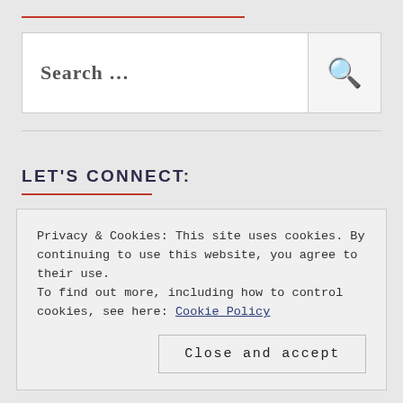[Figure (other): Search bar with text 'Search ...' and a magnifying glass icon button on the right]
LET'S CONNECT:
Privacy & Cookies: This site uses cookies. By continuing to use this website, you agree to their use.
To find out more, including how to control cookies, see here: Cookie Policy
Close and accept